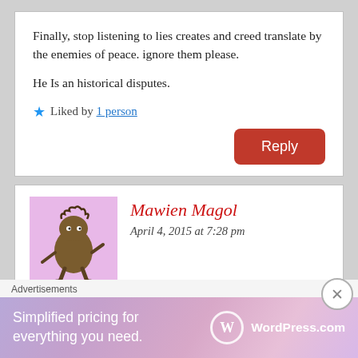Finally, stop listening to lies creates and creed translate by the enemies of peace. ignore them please.

He Is an historical disputes.
Liked by 1 person
Reply
Mawien Magol
April 4, 2015 at 7:28 pm
Dear brother Tor Madira Machier and all our
Advertisements
Simplified pricing for everything you need. WordPress.com